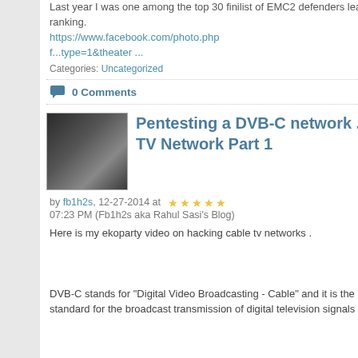Last year I was one among the top 30 finilist of EMC2 defenders league and stood 5th in the final ranking. https://www.facebook.com/photo.php f...type=1&theater ...
Categories: Uncategorized
0 Comments    Read More
Pentesting a DVB-C network .Hacking your cable TV Network Part 1
by fb1h2s, 12-27-2014 at 07:23 PM (Fb1h2s aka Rahul Sasi's Blog)
Here is my ekoparty video on hacking cable tv networks .
DVB-C stands for "Digital Video Broadcasting - Cable" and it is the DVB European consortium standard for the broadcast transmission of digital television signals by cable. Th...
Archiv
< Su 21 28 4 11 18 25
Recen
andyma nitmalv stnlrgrs
Blog C
Local C Unc